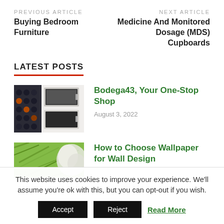PREVIOUS ARTICLE
Buying Bedroom Furniture
NEXT ARTICLE
Medicine And Monitored Dosage (MDS) Cupboards
LATEST POSTS
[Figure (photo): Wine storage units and appliances in a white kitchen setting]
Bodega43, Your One-Stop Shop
August 3, 2022
[Figure (photo): Green textured wallpaper design]
How to Choose Wallpaper for Wall Design
This website uses cookies to improve your experience. We'll assume you're ok with this, but you can opt-out if you wish.